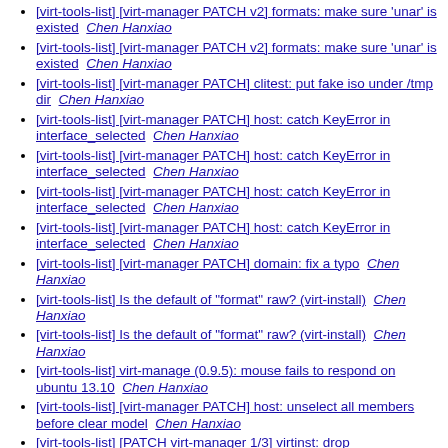[virt-tools-list] [virt-manager PATCH v2] formats: make sure 'unar' is existed  Chen Hanxiao
[virt-tools-list] [virt-manager PATCH v2] formats: make sure 'unar' is existed  Chen Hanxiao
[virt-tools-list] [virt-manager PATCH] clitest: put fake iso under /tmp dir  Chen Hanxiao
[virt-tools-list] [virt-manager PATCH] host: catch KeyError in interface_selected  Chen Hanxiao
[virt-tools-list] [virt-manager PATCH] host: catch KeyError in interface_selected  Chen Hanxiao
[virt-tools-list] [virt-manager PATCH] host: catch KeyError in interface_selected  Chen Hanxiao
[virt-tools-list] [virt-manager PATCH] host: catch KeyError in interface_selected  Chen Hanxiao
[virt-tools-list] [virt-manager PATCH] domain: fix a typo  Chen Hanxiao
[virt-tools-list] Is the default of "format" raw? (virt-install)  Chen Hanxiao
[virt-tools-list] Is the default of "format" raw? (virt-install)  Chen Hanxiao
[virt-tools-list] virt-manage (0.9.5): mouse fails to respond on ubuntu 13.10  Chen Hanxiao
[virt-tools-list] [virt-manager PATCH] host: unselect all members before clear model  Chen Hanxiao
[virt-tools-list] [PATCH virt-manager 1/3] virtinst: drop